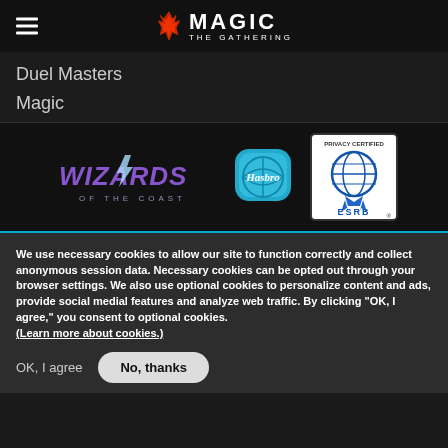[Figure (logo): Magic: The Gathering logo with flame icon and navigation header with hamburger menu]
Duel Masters
Magic
[Figure (logo): Wizards of the Coast logo, Hasbro logo, and ESRB Privacy Certified badge]
We use necessary cookies to allow our site to function correctly and collect anonymous session data. Necessary cookies can be opted out through your browser settings. We also use optional cookies to personalize content and ads, provide social medial features and analyze web traffic. By clicking “OK, I agree,” you consent to optional cookies. (Learn more about cookies.)